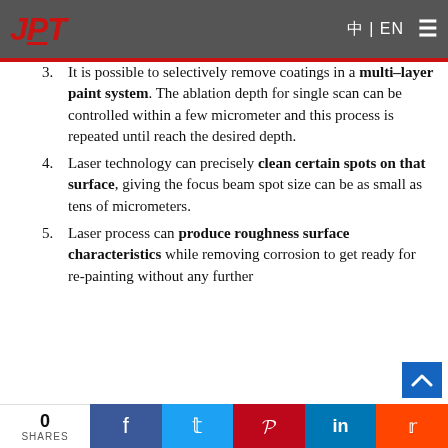thus, can remove metal oxides while keeping the metal substrate intact. The rust/oxide is either vaporized or suctioned away as particles.
It is possible to selectively remove coatings in a multi-layer paint system. The ablation depth for single scan can be controlled within a few micrometer and this process is repeated until reach the desired depth.
Laser technology can precisely clean certain spots on that surface, giving the focus beam spot size can be as small as tens of micrometers.
Laser process can produce roughness surface characteristics while removing corrosion to get ready for re-painting without any further